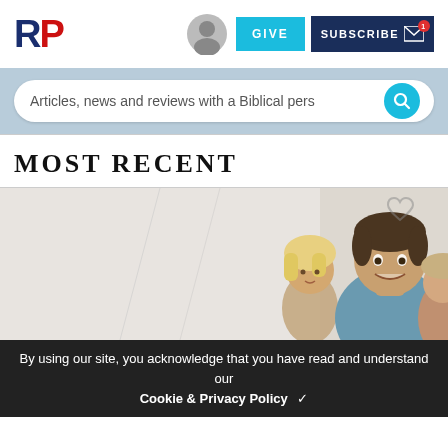RP — GIVE — SUBSCRIBE
Articles, news and reviews with a Biblical pers
MOST RECENT
[Figure (photo): Family photo showing a smiling man, a young blonde girl, and partially visible woman]
By using our site, you acknowledge that you have read and understand our Cookie & Privacy Policy ✓